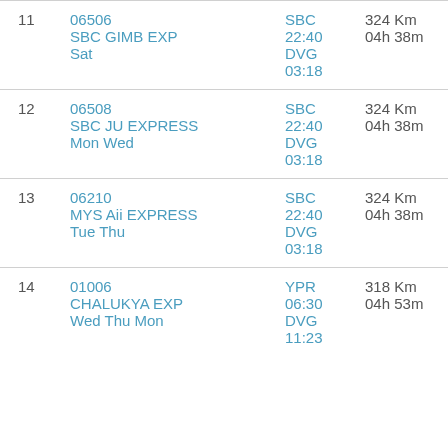| # | Train | Route | Info |
| --- | --- | --- | --- |
| 11 | 06506
SBC GIMB EXP
Sat | SBC
22:40
DVG
03:18 | 324 Km
04h 38m |
| 12 | 06508
SBC JU EXPRESS
Mon Wed | SBC
22:40
DVG
03:18 | 324 Km
04h 38m |
| 13 | 06210
MYS Aii EXPRESS
Tue Thu | SBC
22:40
DVG
03:18 | 324 Km
04h 38m |
| 14 | 01006
CHALUKYA EXP
Wed Thu Mon | YPR
06:30
DVG
11:23 | 318 Km
04h 53m |